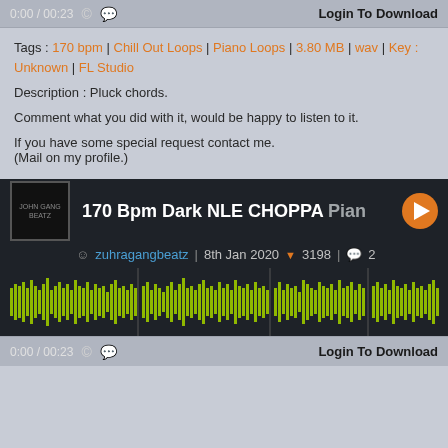0:00 / 00:23   Login To Download
Tags : 170 bpm | Chill Out Loops | Piano Loops | 3.80 MB | wav | Key : Unknown | FL Studio
Description : Pluck chords.
Comment what you did with it, would be happy to listen to it.
If you have some special request contact me.
(Mail on my profile.)
[Figure (screenshot): Music player widget showing track '170 Bpm Dark NLE CHOPPA Piano' by zuhragangbeatz, dated 8th Jan 2020, with 3198 downloads and 2 comments. Waveform displayed in yellow-green color on dark background.]
0:00 / 00:23   Login To Download